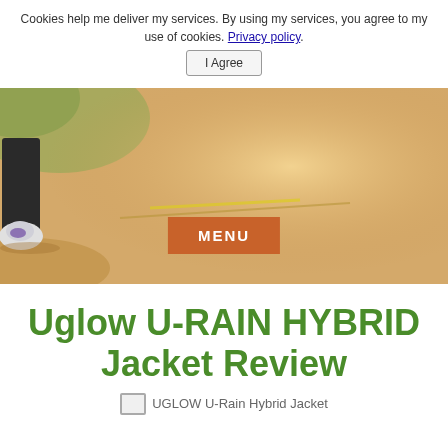Cookies help me deliver my services. By using my services, you agree to my use of cookies. Privacy policy.
I Agree
[Figure (photo): Hero banner photo of a person running/walking on a sandy path, wearing sneakers and black pants, with green foliage in the background. An orange MENU button is overlaid in the center-lower area.]
Uglow U-RAIN HYBRID Jacket Review
[Figure (photo): Broken image placeholder for UGLOW U-Rain Hybrid Jacket photo]